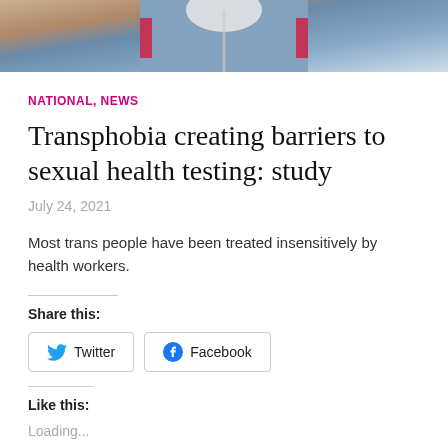[Figure (photo): Top portion of a medical worker in a grey/blue top with red accents, holding a white mask, photographed from below the chin]
NATIONAL, NEWS
Transphobia creating barriers to sexual health testing: study
July 24, 2021
Most trans people have been treated insensitively by health workers.
Share this:
Twitter
Facebook
Like this:
Loading...